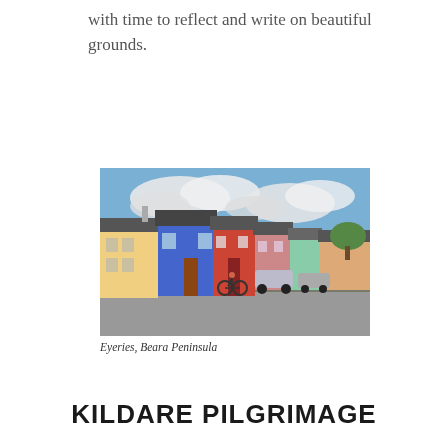with time to reflect and write on beautiful grounds.
[Figure (photo): Colourful terraced houses in Eyeries, Beara Peninsula, Ireland. Row of brightly painted buildings in yellow, blue, red, pink, green under a partly cloudy sky. A bicycle and cars are visible in the foreground.]
Eyeries, Beara Peninsula
KILDARE PILGRIMAGE